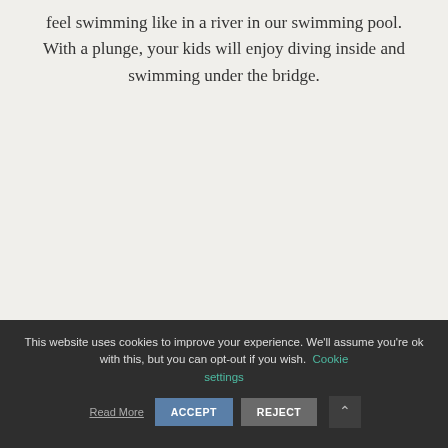feel swimming like in a river in our swimming pool. With a plunge, your kids will enjoy diving inside and swimming under the bridge.
This website uses cookies to improve your experience. We'll assume you're ok with this, but you can opt-out if you wish. Cookie settings Read More ACCEPT REJECT